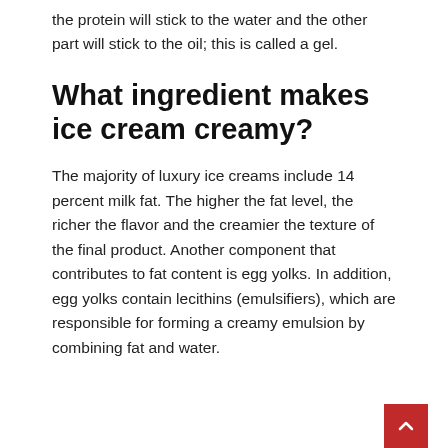the protein will stick to the water and the other part will stick to the oil; this is called a gel.
What ingredient makes ice cream creamy?
The majority of luxury ice creams include 14 percent milk fat. The higher the fat level, the richer the flavor and the creamier the texture of the final product. Another component that contributes to fat content is egg yolks. In addition, egg yolks contain lecithins (emulsifiers), which are responsible for forming a creamy emulsion by combining fat and water.